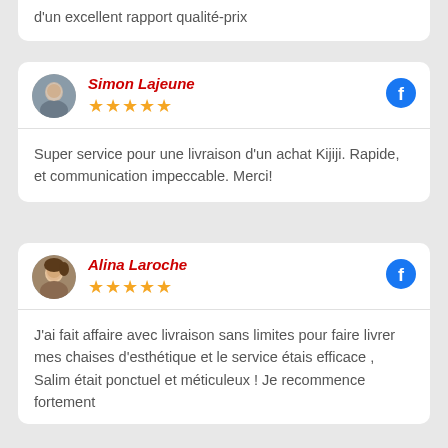d'un excellent rapport qualité-prix
Simon Lajeune
★★★★★
Super service pour une livraison d'un achat Kijiji. Rapide, et communication impeccable. Merci!
Alina Laroche
★★★★★
J'ai fait affaire avec livraison sans limites pour faire livrer mes chaises d'esthétique et le service étais efficace , Salim était ponctuel et méticuleux ! Je recommence fortement